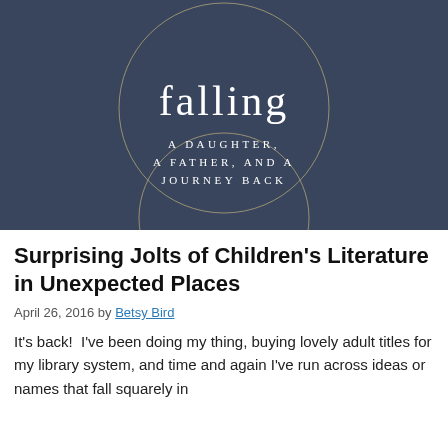[Figure (photo): Book cover of 'Falling: A Daughter, A Father, and a Journey Back' with dark blue/slate background, two overlapping circles drawn in gold/tan outline, and white serif text in the center]
Surprising Jolts of Children's Literature in Unexpected Places
April 26, 2016 by Betsy Bird
It's back!  I've been doing my thing, buying lovely adult titles for my library system, and time and again I've run across ideas or names that fall squarely in